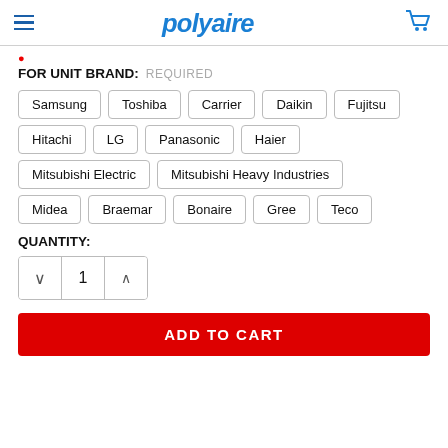polyaire
FOR UNIT BRAND: REQUIRED
Samsung
Toshiba
Carrier
Daikin
Fujitsu
Hitachi
LG
Panasonic
Haier
Mitsubishi Electric
Mitsubishi Heavy Industries
Midea
Braemar
Bonaire
Gree
Teco
QUANTITY:
1
ADD TO CART